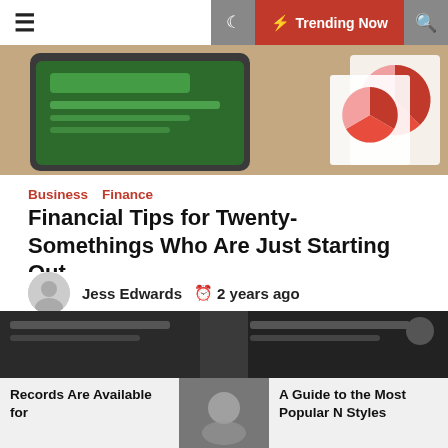≡  ☾  ⚡ Trending Now  🔍
[Figure (photo): Hero image showing a smartphone and pie chart papers on a wooden desk]
Business   Finance
Financial Tips for Twenty-Somethings Who Are Just Starting Out
Jess Edwards  🕐 2 years ago
The first few years after high school and in the workforce can be incredibly stressful. There seem to be new bills to pay every week and it never feels like your income covers your expenses. However, the lessons you learn during these years are important and they can set you [...]
[Figure (photo): Dark background image for bottom article teaser row]
Records Are Available for
[Figure (photo): Center thumbnail image for bottom article]
A Guide to the Most Popular N Styles